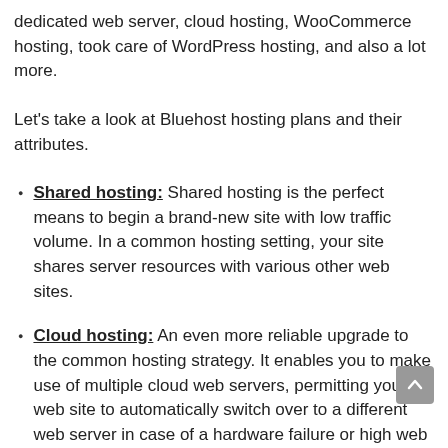dedicated web server, cloud hosting, WooCommerce hosting, took care of WordPress hosting, and also a lot more.
Let's take a look at Bluehost hosting plans and their attributes.
Shared hosting: Shared hosting is the perfect means to begin a brand-new site with low traffic volume. In a common hosting setting, your site shares server resources with various other web sites.
Cloud hosting: An even more reliable upgrade to the common hosting strategy. It enables you to make use of multiple cloud web servers, permitting your web site to automatically switch over to a different web server in case of a hardware failure or high web traffic.